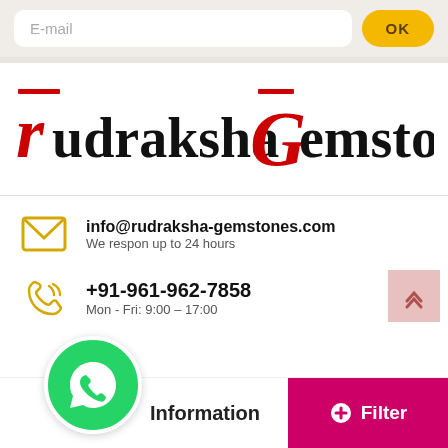E-mail
OK
[Figure (logo): Rudraksha Gemstones logo with stylized red R and G characters and decorative overlines]
info@rudraksha-gemstones.com
We respon up to 24 hours
+91-961-962-7858
Mon - Fri: 9:00 - 17:00
Information
Filter